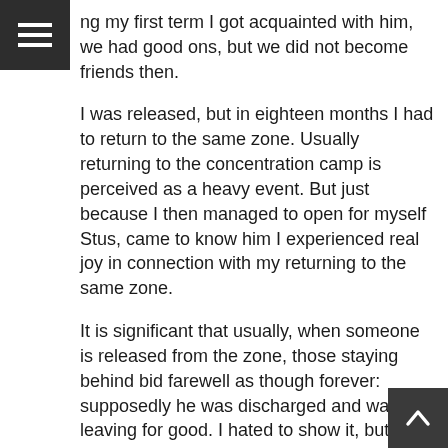ng my first term I got acquainted with him, we had good ons, but we did not become friends then.
I was released, but in eighteen months I had to return to the same zone. Usually returning to the concentration camp is perceived as a heavy event. But just because I then managed to open for myself Stus, came to know him I experienced real joy in connection with my returning to the same zone.
It is significant that usually, when someone is released from the zone, those staying behind bid farewell as though forever: supposedly he was discharged and was leaving for good. I hated to show it, but it was heavy for me to come back to the same zone. However, in court I held my own, they were so afraid of me that they transported me in a special aircraft.
When I arrived in the same zone, Alexandrov was the brigade leader there. He was a stinker. I remember how he used to tell me that I would return once again. I thought when I would meet him he would remind me: “I told you